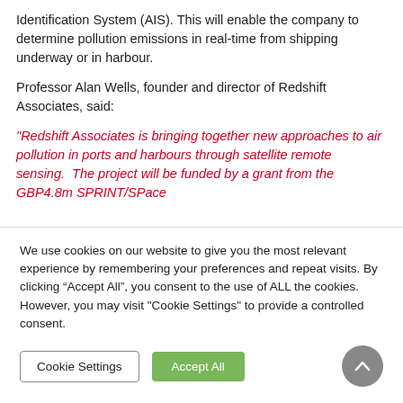Identification System (AIS). This will enable the company to determine pollution emissions in real-time from shipping underway or in harbour.
Professor Alan Wells, founder and director of Redshift Associates, said:
“Redshift Associates is bringing together new approaches to air pollution in ports and harbours through satellite remote sensing.  The project will be funded by a grant from the GBP4.8m SPRINT/SPace...
We use cookies on our website to give you the most relevant experience by remembering your preferences and repeat visits. By clicking “Accept All”, you consent to the use of ALL the cookies. However, you may visit "Cookie Settings" to provide a controlled consent.